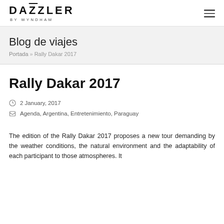DAZZLER BY WYNDHAM
Blog de viajes
Portada » Rally Dakar 2017
Rally Dakar 2017
2 January, 2017
Agenda, Argentina, Entretenimiento, Paraguay
The edition of the Rally Dakar 2017 proposes a new tour demanding by the weather conditions, the natural environment and the adaptability of each participant to those atmospheres. It